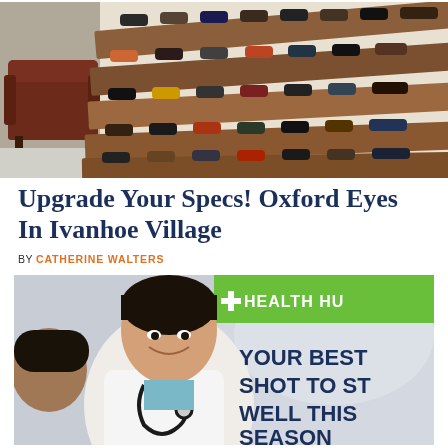[Figure (photo): Photo of an optical shop interior showing rows of eyeglasses displayed on wooden shelves, with a dark leather armchair visible on the left]
Upgrade Your Specs! Oxford Eyes In Ivanhoe Village
BY CATHERINE WALTERS
[Figure (photo): Advertisement photo showing a smiling female doctor in a white coat with a stethoscope talking to a patient. Green banner in upper right reads '+ HEALTH HU'. Bold text reads 'YOUR BEST SHOT TO ST WELL THIS [F] SEASON']